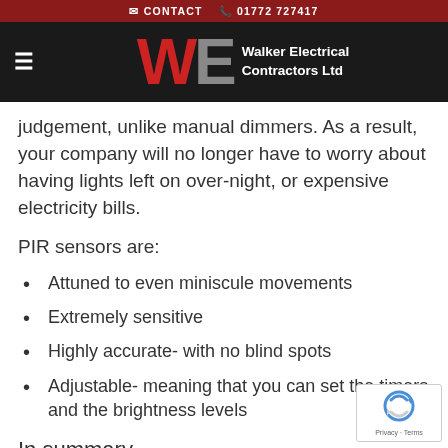CONTACT  01772 727417
Walker Electrical Contractors Ltd
judgement, unlike manual dimmers. As a result, your company will no longer have to worry about having lights left on over-night, or expensive electricity bills.
PIR sensors are:
Attuned to even miniscule movements
Extremely sensitive
Highly accurate- with no blind spots
Adjustable- meaning that you can set the timers and the brightness levels
In summary